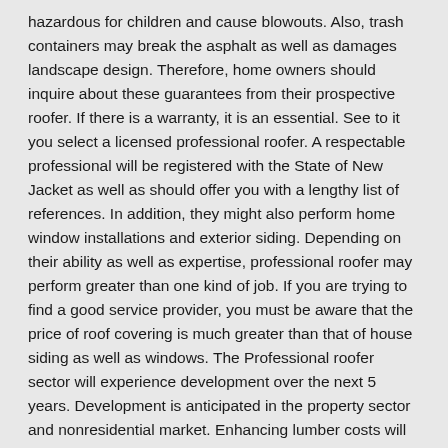hazardous for children and cause blowouts. Also, trash containers may break the asphalt as well as damages landscape design. Therefore, home owners should inquire about these guarantees from their prospective roofer. If there is a warranty, it is an essential. See to it you select a licensed professional roofer. A respectable professional will be registered with the State of New Jacket as well as should offer you with a lengthy list of references. In addition, they might also perform home window installations and exterior siding. Depending on their ability as well as expertise, professional roofer may perform greater than one kind of job. If you are trying to find a good service provider, you must be aware that the price of roof covering is much greater than that of house siding as well as windows. The Professional roofer sector will experience development over the next 5 years. Development is anticipated in the property sector and nonresidential market. Enhancing lumber costs will boost earnings. Nonetheless, declines in business revenue will reduce need from the commercial field. This may lead to reduced employment opportunities for Roofing Contractors. Nonetheless, this growth is unlikely to be irreversible. And also if the marketplace remains to boost, it is anticipated that the industry will remain to increase in